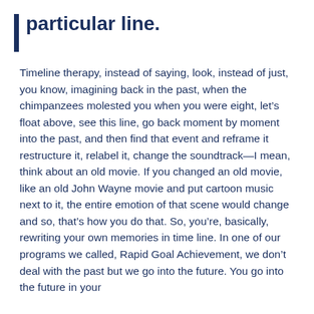particular line.
Timeline therapy, instead of saying, look, instead of just, you know, imagining back in the past, when the chimpanzees molested you when you were eight, let’s float above, see this line, go back moment by moment into the past, and then find that event and reframe it restructure it, relabel it, change the soundtrack—I mean, think about an old movie. If you changed an old movie, like an old John Wayne movie and put cartoon music next to it, the entire emotion of that scene would change and so, that’s how you do that. So, you’re, basically, rewriting your own memories in time line. In one of our programs we called, Rapid Goal Achievement, we don’t deal with the past but we go into the future. You go into the future in your